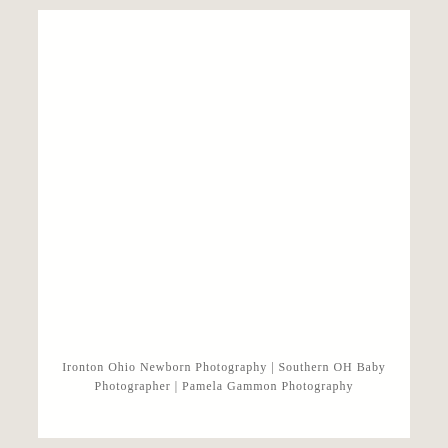Ironton Ohio Newborn Photography | Southern OH Baby Photographer | Pamela Gammon Photography